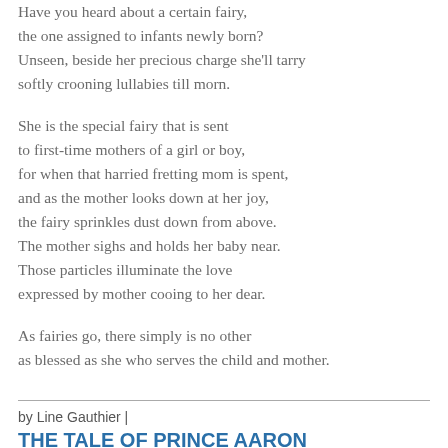Have you heard about a certain fairy,
the one assigned to infants newly born?
Unseen, beside her precious charge she'll tarry
softly crooning lullabies till morn.
She is the special fairy that is sent
to first-time mothers of a girl or boy,
for when that harried fretting mom is spent,
and as the mother looks down at her joy,
the fairy sprinkles dust down from above.
The mother sighs and holds her baby near.
Those particles illuminate the love
expressed by mother cooing to her dear.
As fairies go, there simply is no other
as blessed as she who serves the child and mother.
by Line Gauthier |
THE TALE OF PRINCE AARON